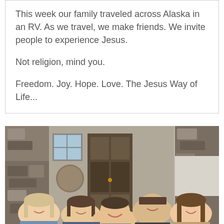This week our family traveled across Alaska in an RV. As we travel, we make friends. We invite people to experience Jesus.

Not religion, mind you.

Freedom. Joy. Hope. Love. The Jesus Way of Life...
[Figure (photo): A family of five posing together in front of a house entrance with stone walls and a wooden door. Five people are visible including children and adults smiling at the camera.]